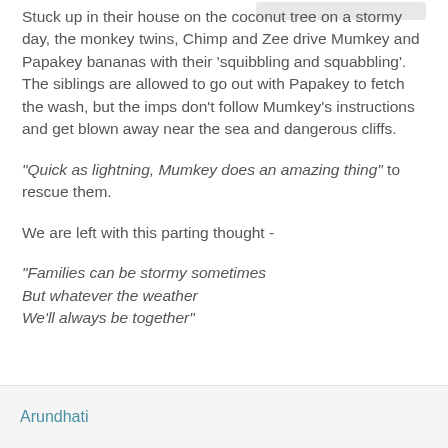Stuck up in their house on the coconut tree on a stormy day, the monkey twins, Chimp and Zee drive Mumkey and Papakey bananas with their 'squibbling and squabbling'. The siblings are allowed to go out with Papakey to fetch the wash, but the imps don't follow Mumkey's instructions and get blown away near the sea and dangerous cliffs.
“Quick as lightning, Mumkey does an amazing thing” to rescue them.
We are left with this parting thought -
“Families can be stormy sometimes
But whatever the weather
We’ll always be together”
Arundhati